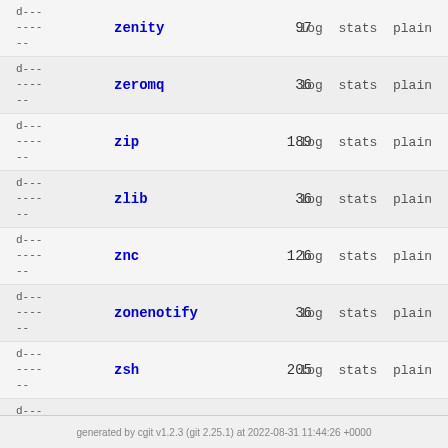| meta | name | count | actions |
| --- | --- | --- | --- |
| d---
----
-- | zenity | 97 | log  stats  plain |
| d---
----
-- | zeromq | 36 | log  stats  plain |
| d---
----
-- | zip | 189 | log  stats  plain |
| d---
----
-- | zlib | 36 | log  stats  plain |
| d---
----
-- | znc | 126 | log  stats  plain |
| d---
----
-- | zonenotify | 36 | log  stats  plain |
| d---
----
-- | zsh | 205 | log  stats  plain |
| d---
----
-- | zsnes | 313 | log  stats  plain |
generated by cgit v1.2.3 (git 2.25.1) at 2022-08-31 11:44:26 +0000